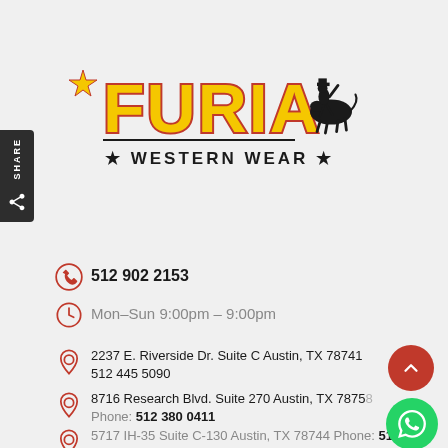[Figure (logo): Furia Western Wear logo with yellow block letters outlined in red, a star on the left, and a rodeo bull rider silhouette on the right, with '* WESTERN WEAR *' text below]
512 902 2153
Mon–Sun 9:00pm – 9:00pm
2237 E. Riverside Dr. Suite C Austin, TX 78741 512 445 5090
8716 Research Blvd. Suite 270 Austin, TX 78758 Phone: 512 380 0411
5717 IH-35 Suite C-130 Austin, TX 78744 Phone: 512